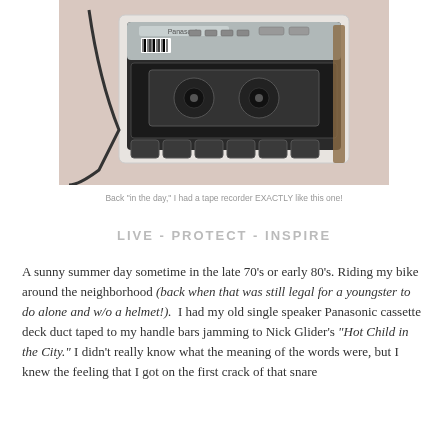[Figure (photo): A Panasonic cassette tape recorder/deck viewed at an angle, showing buttons and silver panel, placed on a light surface with a cord visible.]
Back "in the day," I had a tape recorder EXACTLY like this one!
LIVE - PROTECT - INSPIRE
A sunny summer day sometime in the late 70's or early 80's. Riding my bike around the neighborhood (back when that was still legal for a youngster to do alone and w/o a helmet!).  I had my old single speaker Panasonic cassette deck duct taped to my handle bars jamming to Nick Glider's "Hot Child in the City." I didn't really know what the meaning of the words were, but I knew the feeling that I got on the first crack of that snare